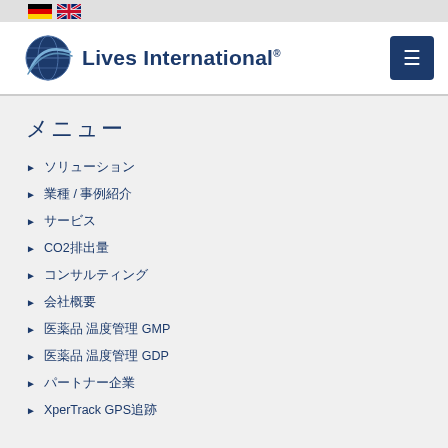Lives International® — navigation menu page with language flags (German, English)
[Figure (logo): Lives International logo with globe icon and text 'Lives International®']
メニュー
ソリューション
業種 / 事例紹介
サービス
CO2排出量
コンサルティング
会社概要
医薬品 温度管理 GMP
医薬品 温度管理 GDP
パートナー企業
XperTrack GPS追跡